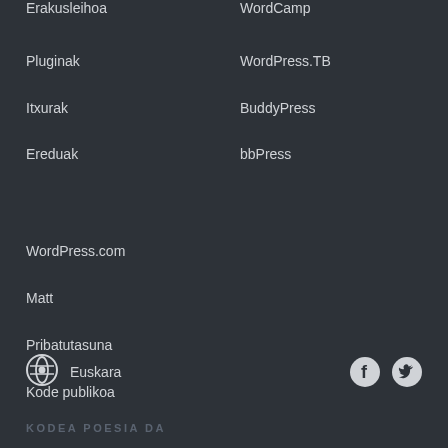Erakusleihoа
WordCamp
Pluginak
WordPress.TB
Itxurak
BuddyPress
Ereduak
bbPress
WordPress.com
Matt
Pribatutasuna
Kode publikoa
WordPress logo  Euskara  Facebook  Twitter  KODEA POESIA DA